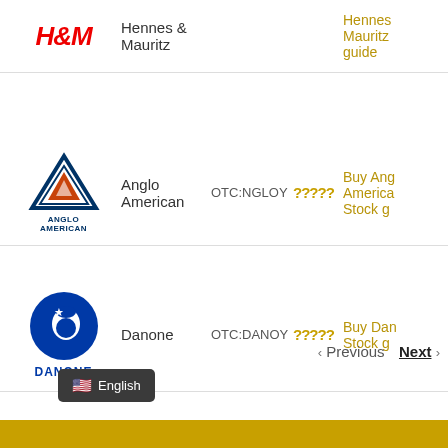[Figure (logo): H&M logo - red italic text]
Hennes & Mauritz
Hennes & Mauritz guide
[Figure (logo): Anglo American logo - blue triangular shield with orange center]
Anglo American
OTC:NGLOY
?????
Buy Anglo American Stock g
[Figure (logo): Danone logo - blue circle with white baby and star]
Danone
OTC:DANOY
?????
Buy Dan Stock g
‹ Previous  Next ›
🇺🇸 English